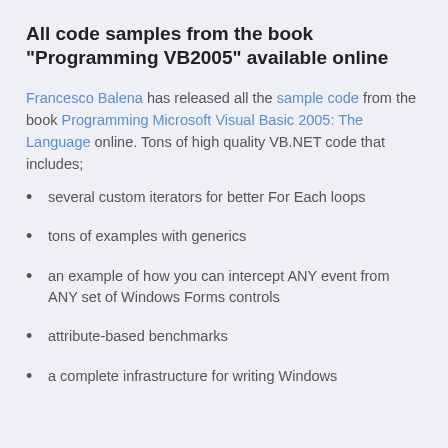All code samples from the book "Programming VB2005" available online
Francesco Balena has released all the sample code from the book Programming Microsoft Visual Basic 2005: The Language online. Tons of high quality VB.NET code that includes;
several custom iterators for better For Each loops
tons of examples with generics
an example of how you can intercept ANY event from ANY set of Windows Forms controls
attribute-based benchmarks
a complete infrastructure for writing Windows...